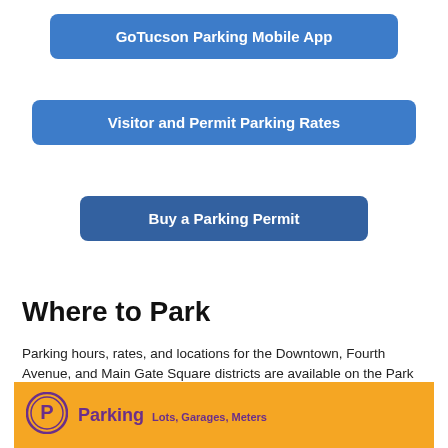GoTucson Parking Mobile App
Visitor and Permit Parking Rates
Buy a Parking Permit
Where to Park
Parking hours, rates, and locations for the Downtown, Fourth Avenue, and Main Gate Square districts are available on the Park Tucson interactive map.
[Figure (infographic): Yellow parking information bar with circular P parking icon and text 'Parking Lots, Garages, Meters' in purple]